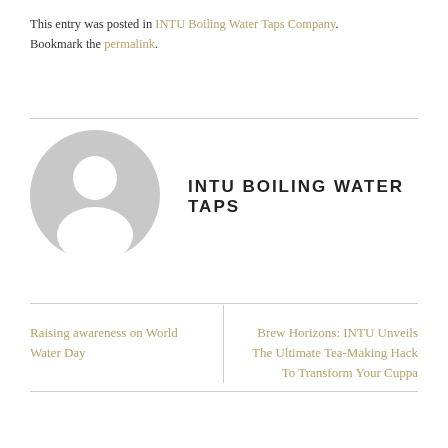This entry was posted in INTU Boiling Water Taps Company. Bookmark the permalink.
[Figure (illustration): Generic user avatar placeholder: grey circle with white silhouette of a person (head and shoulders).]
INTU BOILING WATER TAPS
Raising awareness on World Water Day
Brew Horizons: INTU Unveils The Ultimate Tea-Making Hack To Transform Your Cuppa